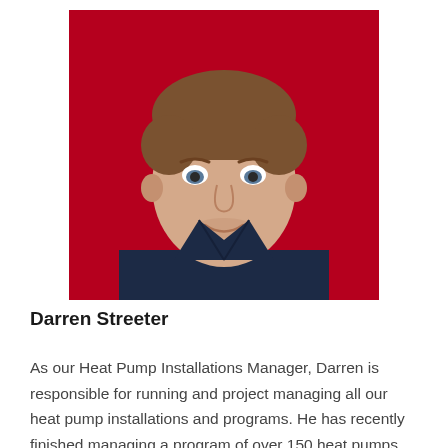[Figure (photo): Portrait photo of Darren Streeter, a man with short hair, smiling slightly, wearing a dark navy jacket, against a red background.]
Darren Streeter
As our Heat Pump Installations Manager, Darren is responsible for running and project managing all our heat pump installations and programs. He has recently finished managing a program of over 150 heat pumps for Wealden District Council for